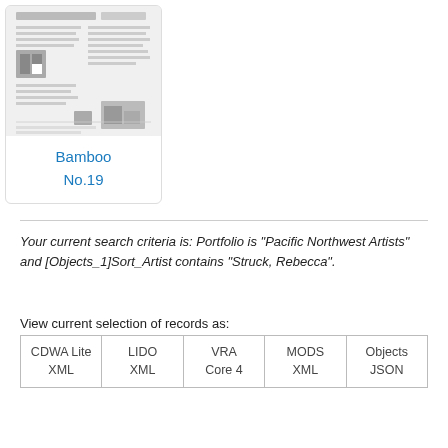[Figure (screenshot): Thumbnail image of a newspaper/newsletter page titled 'bamboo' with text columns and small images]
Bamboo
No.19
Your current search criteria is: Portfolio is "Pacific Northwest Artists" and [Objects_1]Sort_Artist contains "Struck, Rebecca".
View current selection of records as:
| CDWA Lite XML | LIDO XML | VRA Core 4 | MODS XML | Objects JSON |